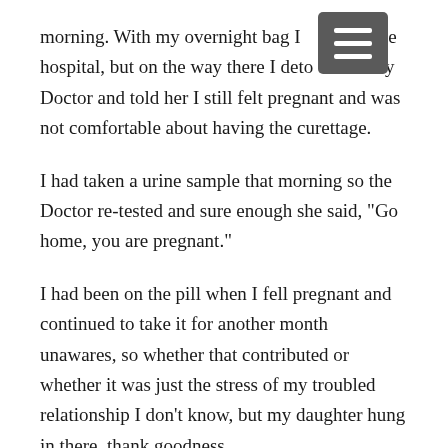morning. With my overnight bag I [obscured] r the hospital, but on the way there I deto[ured] my Doctor and told her I still felt pregnant and was not comfortable about having the curettage.
I had taken a urine sample that morning so the Doctor re-tested and sure enough she said, "Go home, you are pregnant."
I had been on the pill when I fell pregnant and continued to take it for another month unawares, so whether that contributed or whether it was just the stress of my troubled relationship I don't know, but my daughter hung in there, thank goodness.
The daughter's story
Mum said I had a twin and something happened and